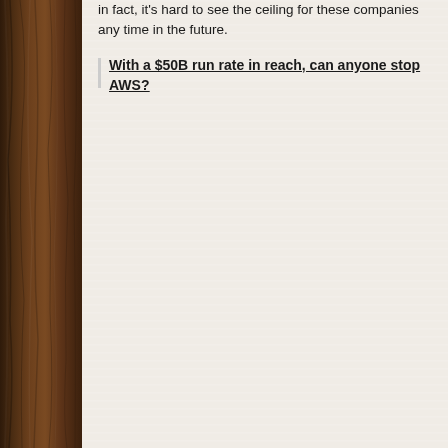In fact, it's hard to see the ceiling for these companies any time in the future.
With a $50B run rate in reach, can anyone stop AWS?